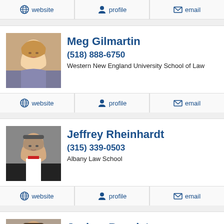website  profile  email
Meg Gilmartin
(518) 888-6750
Western New England University School of Law
website  profile  email
Jeffrey Rheinhardt
(315) 339-0503
Albany Law School
website  profile  email
Joshua Bannister
(315) 508-5383